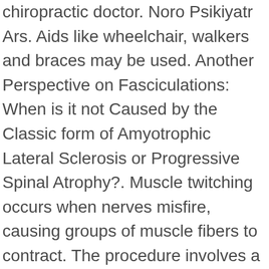chiropractic doctor. Noro Psikiyatr Ars. Aids like wheelchair, walkers and braces may be used. Another Perspective on Fasciculations: When is it not Caused by the Classic form of Amyotrophic Lateral Sclerosis or Progressive Spinal Atrophy?. Muscle twitching occurs when nerves misfire, causing groups of muscle fibers to contract. The procedure involves a thorough analysis of your condition on three levels: As I mentioned before, a Blair upper cervical adjustment does not involve any twisting or cracking. These spasms can be experienced by a small portion of any muscle of the body. With my own clients, I have them keep a journal for one week to observe patterns when they experience their symptoms. The chief symptom is an urge to move the legs. 1988;1:1. Myoclonus comes on suddenly. It is an approach that helps to facilitate normal and natural function of your nervous system so that your body can be as well as possible. Often, a magnesium deficiency is implicated as the cause of muscle twitching in the body. This can sometimes make benign fasciculation syndrome patients